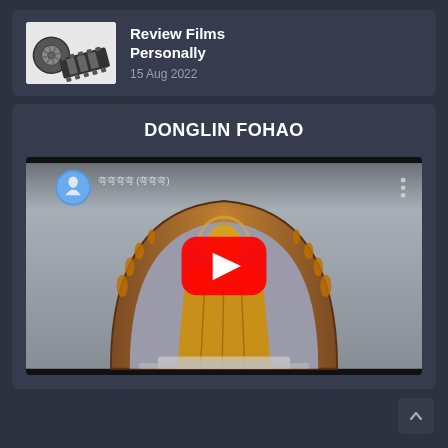[Figure (screenshot): Top card with film reel thumbnail image and text 'Review Films Personally', date '15 Aug 2022']
Review Films Personally
15 Aug 2022
DONGLIN FOHAO
[Figure (screenshot): YouTube video embed showing a golden Buddha statue under an ornate arch, with YouTube play button overlay and channel avatar]